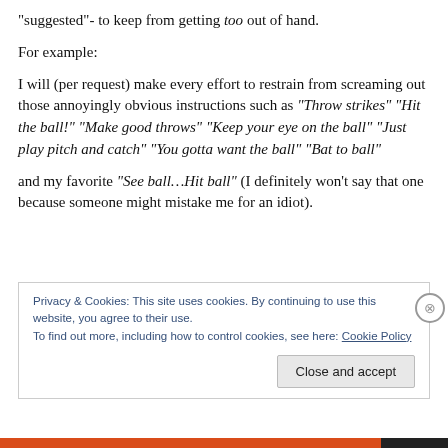“suggested”- to keep from getting too out of hand.
For example:
I will (per request) make every effort to restrain from screaming out those annoyingly obvious instructions such as “Throw strikes” “Hit the ball!”  “Make good throws” “Keep your eye on the ball”  “Just play pitch and catch” “You gotta want the ball” “Bat to ball”
and my favorite “See ball…Hit ball” (I definitely won’t say that one because someone might mistake me for an idiot).
Privacy & Cookies: This site uses cookies. By continuing to use this website, you agree to their use.
To find out more, including how to control cookies, see here: Cookie Policy